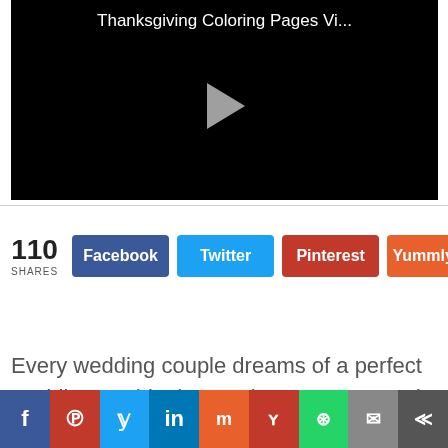[Figure (screenshot): Video player with black background showing 'Thanksgiving Coloring Pages Vi...' title and a play button]
110 SHARES  Facebook  Twitter  Pinterest  Yummly
Every wedding couple dreams of a perfect wedding. In this dream, the ceremony and reception go on without
[Figure (infographic): Bottom social sharing bar with icons: Facebook, Pinterest, Twitter, LinkedIn, Mix, Yummly, WhatsApp, Email, Share]